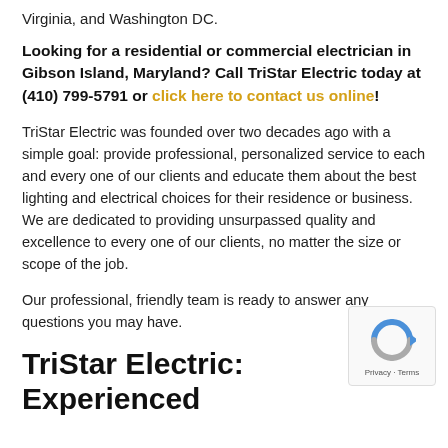Virginia, and Washington DC.
Looking for a residential or commercial electrician in Gibson Island, Maryland? Call TriStar Electric today at (410) 799-5791 or click here to contact us online!
TriStar Electric was founded over two decades ago with a simple goal: provide professional, personalized service to each and every one of our clients and educate them about the best lighting and electrical choices for their residence or business. We are dedicated to providing unsurpassed quality and excellence to every one of our clients, no matter the size or scope of the job.
Our professional, friendly team is ready to answer any questions you may have.
TriStar Electric: Experienced